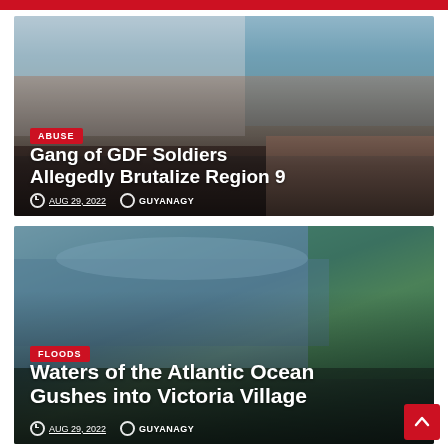[Figure (photo): Medical scene showing patients on examination tables being attended to by medical staff]
ABUSE
Gang of GDF Soldiers Allegedly Brutalize Region 9
AUG 29, 2022  GUYANAGY
[Figure (photo): Flood waters rushing into a coastal village, with greenery visible on the right side]
FLOODS
Waters of the Atlantic Ocean Gushes into Victoria Village
AUG 29, 2022  GUYANAGY